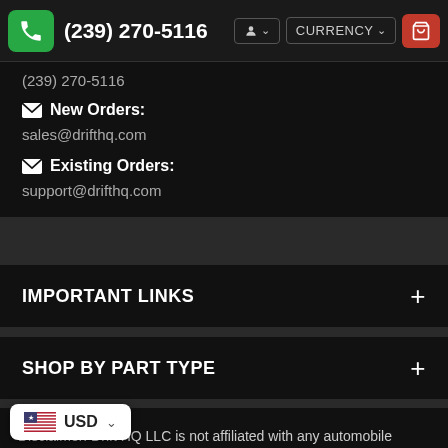(239) 270-5116  CURRENCY
(239) 270-5116
✉ New Orders:
sales@drifthq.com
✉ Existing Orders:
support@drifthq.com
IMPORTANT LINKS
SHOP BY PART TYPE
Disclaimer: Drift HQ LLC is not affiliated with any automobile manufacturers. Manufacturer names numbers are used only for identification
USD